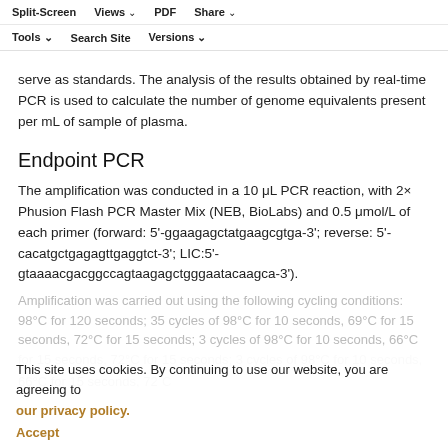Split-Screen  Views  PDF  Share  Tools  Search Site  Versions
serve as standards. The analysis of the results obtained by real-time PCR is used to calculate the number of genome equivalents present per mL of sample of plasma.
Endpoint PCR
The amplification was conducted in a 10 μL PCR reaction, with 2× Phusion Flash PCR Master Mix (NEB, BioLabs) and 0.5 μmol/L of each primer (forward: 5'-ggaagagctatgaagcgtga-3'; reverse: 5'-cacatgctgagagttgaggtct-3'; LIC:5'-gtaaaacgacggccagtaagagctgggaatacaagca-3').
Amplification was carried out using the following cycling conditions: 98°C for 120 seconds; 35 cycles of 98°C for 10 seconds, 69°C for 15 seconds, 72°C for 15 seconds; 3 cycles of 98°C for 10 seconds, 66°C for 15 seconds, 72°C for 15 seconds; 3...
This site uses cookies. By continuing to use our website, you are agreeing to our privacy policy. Accept